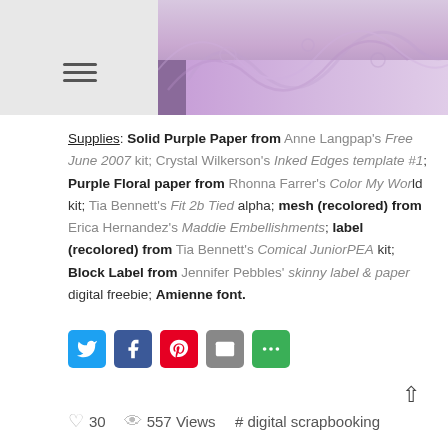[Figure (screenshot): Top portion of a blog/website page showing a header image with purple floral/decorative paper design, a search bar, and a hamburger menu icon on a gray background.]
Supplies: Solid Purple Paper from Anne Langpap's Free June 2007 kit; Crystal Wilkerson's Inked Edges template #1; Purple Floral paper from Rhonna Farrer's Color My World kit; Tia Bennett's Fit 2b Tied alpha; mesh (recolored) from Erica Hernandez's Maddie Embellishments; label (recolored) from Tia Bennett's Comical JuniorPEA kit; Block Label from Jennifer Pebbles' skinny label & paper digital freebie; Amienne font.
[Figure (infographic): Social sharing buttons row: Twitter (blue), Facebook (dark blue), Pinterest (red), Email (gray), More sharing options (green)]
30   557 Views   # digital scrapbooking